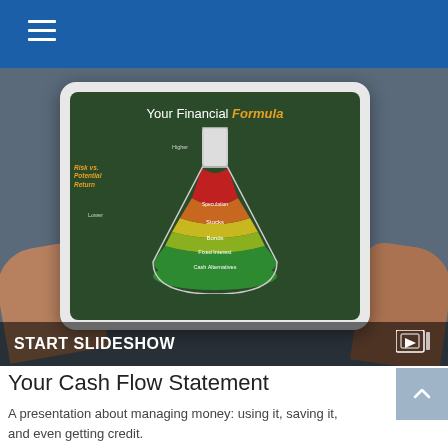[Figure (photo): Person holding a tablet showing 'Your Financial Formula' slideshow with a layered flask diagram illustrating Risk vs. Potential Return with layers: Speculation, Stocks, Bonds, Fixed Interest, Cash Alternatives. A 'START SLIDESHOW' bar overlays the bottom of the image.]
Your Cash Flow Statement
A presentation about managing money: using it, saving it, and even getting credit.